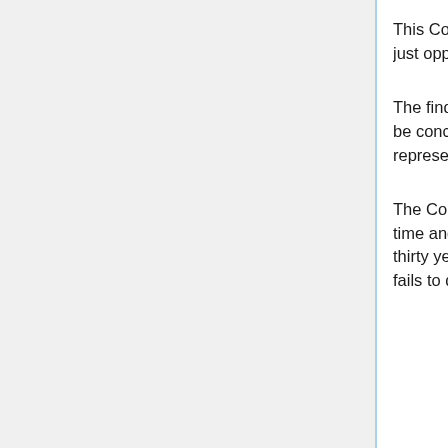This Commission shall consider the claims and give to the German Government a just opportunity to be heard.
The findings of the Commission as to the amount of damage defined as above shall be concluded and notified to the German Government on or before May 1, 1921, as representing the extent of that Government's obligations. ,
The Commission shall concurrently draw up a schedule of payments prescribing the time and manner for securing and discharging the entire obligation within a period of thirty years from May 1, 1921. If, however, within the period mentioned, Germany fails to discharge her